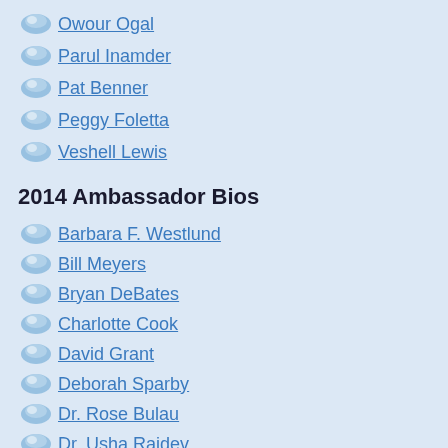Owour Ogal
Parul Inamder
Pat Benner
Peggy Foletta
Veshell Lewis
2014 Ambassador Bios
Barbara F. Westlund
Bill Meyers
Bryan DeBates
Charlotte Cook
David Grant
Deborah Sparby
Dr. Rose Bulau
Dr. Usha Rajdev
Eliza...